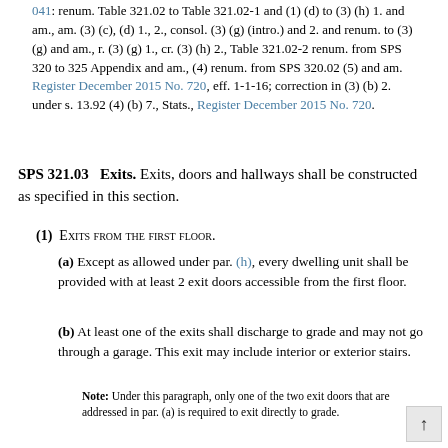041: renum. Table 321.02 to Table 321.02-1 and (1) (d) to (3) (h) 1. and am., am. (3) (c), (d) 1., 2., consol. (3) (g) (intro.) and 2. and renum. to (3) (g) and am., r. (3) (g) 1., cr. (3) (h) 2., Table 321.02-2 renum. from SPS 320 to 325 Appendix and am., (4) renum. from SPS 320.02 (5) and am. Register December 2015 No. 720, eff. 1-1-16; correction in (3) (b) 2. under s. 13.92 (4) (b) 7., Stats., Register December 2015 No. 720.
SPS 321.03 Exits. Exits, doors and hallways shall be constructed as specified in this section.
(1) EXITS FROM THE FIRST FLOOR.
(a) Except as allowed under par. (h), every dwelling unit shall be provided with at least 2 exit doors accessible from the first floor.
(b) At least one of the exits shall discharge to grade and may not go through a garage. This exit may include interior or exterior stairs.
Note: Under this paragraph, only one of the two exit doors that are addressed in par. (a) is required to exit directly to grade.
(c) Any exit that does not comply with par. (b) may discharge to an outside balcony that complies with sub. (8).
(d) Any exit that does not comply with par. (b) may discharge into an attached garage provided the garage has an exit door that discharges to grade. An overhead garage door may be used as an exit door.